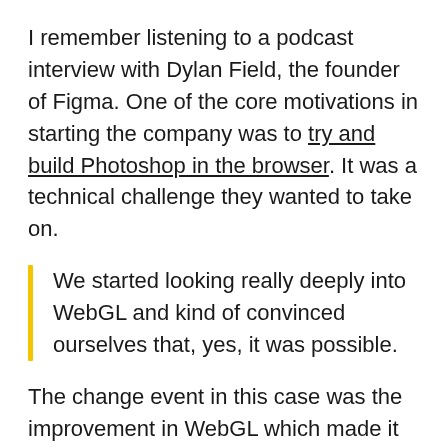I remember listening to a podcast interview with Dylan Field, the founder of Figma. One of the core motivations in starting the company was to try and build Photoshop in the browser. It was a technical challenge they wanted to take on.
We started looking really deeply into WebGL and kind of convinced ourselves that, yes, it was possible.
The change event in this case was the improvement in WebGL which made it possible to render interactive 2D and 3D graphics within any web browser without the use of plug-ins. Tools like Figma were the first pioneers to benefit from this. The current wave of beneficiaries are online video editing tools like VEED. The next group to ride the WebGL wave will be browser-based